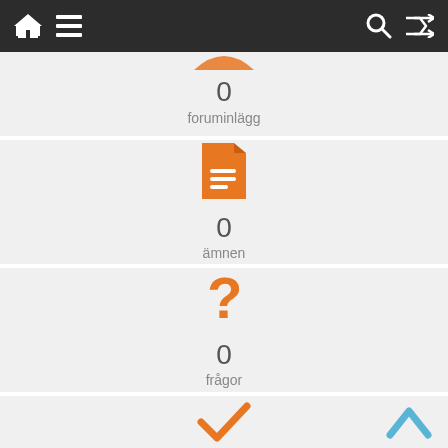Navigation bar with home, menu, search, shuffle icons
0
foruminlägg
[Figure (illustration): Orange document/file icon with lines]
0
ämnen
[Figure (illustration): Orange question mark icon]
0
frågor
[Figure (illustration): Orange checkmark icon and blue chevron up arrow]